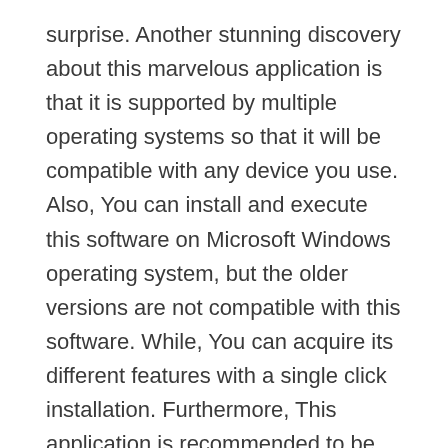surprise. Another stunning discovery about this marvelous application is that it is supported by multiple operating systems so that it will be compatible with any device you use. Also, You can install and execute this software on Microsoft Windows operating system, but the older versions are not compatible with this software. While, You can acquire its different features with a single click installation. Furthermore, This application is recommended to be run on a 64-bit operating system.
Adobe Animate CC License Key can design interactive animation for games, TV shows, and even the web. You can bring cartoons and banners to life with its intuitive and cool features, you can make your doddles and avatars and add action to them. Also, After being done with your animation, you can also publish them in...